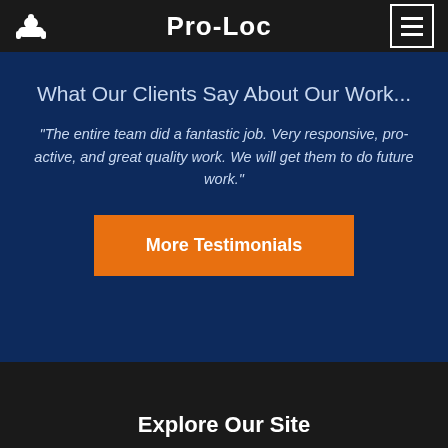PRO-LOC
What Our Clients Say About Our Work...
"The entire team did a fantastic job. Very responsive, pro-active, and great quality work. We will get them to do future work."
More Testimonials
Explore Our Site